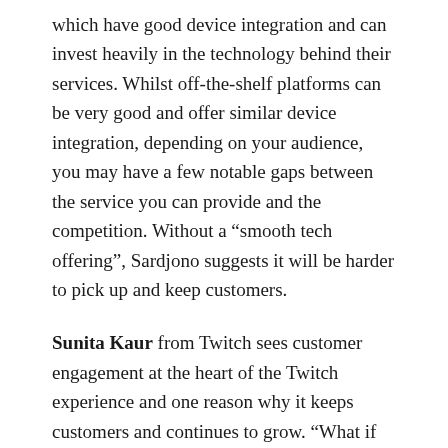which have good device integration and can invest heavily in the technology behind their services. Whilst off-the-shelf platforms can be very good and offer similar device integration, depending on your audience, you may have a few notable gaps between the service you can provide and the competition. Without a “smooth tech offering”, Sardjono suggests it will be harder to pick up and keep customers.
Sunita Kaur from Twitch sees customer engagement at the heart of the Twitch experience and one reason why it keeps customers and continues to grow. “What if TV could talk back to me?” is the question she uses to explain Twitch to those unfamiliar with the service highlighting the fact each video comes with a live chat feature allowing the viewers to interact directly with the hosts giving them